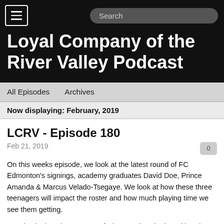Loyal Company of the River Valley Podcast
All Episodes   Archives
Now displaying: February, 2019
LCRV - Episode 180
Feb 21, 2019
On this weeks episode, we look at the latest round of FC Edmonton's signings, academy graduates David Doe, Prince Amanda & Marcus Velado-Tsegaye. We look at how these three teenagers will impact the roster and how much playing time we see them getting.
We also look at the rumours of Diego Forlan signing with Valour and how we potentially see it working out for the club and league, both on and off the pitch.
This episode is brought to you by;